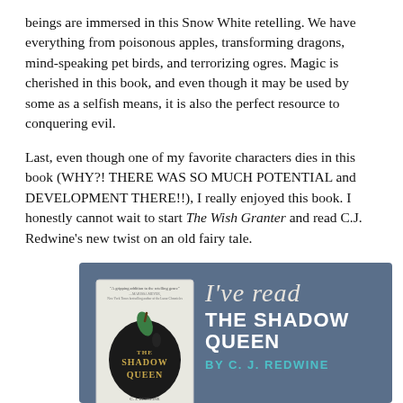beings are immersed in this Snow White retelling. We have everything from poisonous apples, transforming dragons, mind-speaking pet birds, and terrorizing ogres. Magic is cherished in this book, and even though it may be used by some as a selfish means, it is also the perfect resource to conquering evil.
Last, even though one of my favorite characters dies in this book (WHY?! THERE WAS SO MUCH POTENTIAL and DEVELOPMENT THERE!!), I really enjoyed this book. I honestly cannot wait to start The Wish Granter and read C.J. Redwine's new twist on an old fairy tale.
[Figure (illustration): Promotional badge graphic on steel-blue background showing book cover of 'The Shadow Queen' (dark apple with leaf and gold title) on left, and on right the text 'I've read' in cursive, 'THE SHADOW QUEEN' in bold white uppercase, 'BY C. J. REDWINE' in teal uppercase.]